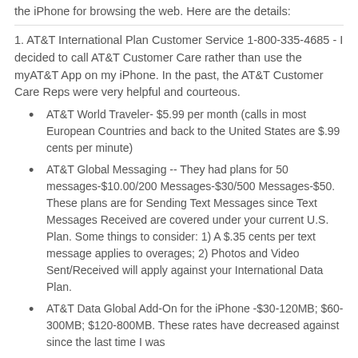the iPhone for browsing the web. Here are the details:
1. AT&T International Plan Customer Service 1-800-335-4685 - I decided to call AT&T Customer Care rather than use the myAT&T App on my iPhone. In the past, the AT&T Customer Care Reps were very helpful and courteous.
AT&T World Traveler- $5.99 per month (calls in most European Countries and back to the United States are $.99 cents per minute)
AT&T Global Messaging -- They had plans for 50 messages-$10.00/200 Messages-$30/500 Messages-$50. These plans are for Sending Text Messages since Text Messages Received are covered under your current U.S. Plan. Some things to consider: 1) A $.35 cents per text message applies to overages; 2) Photos and Video Sent/Received will apply against your International Data Plan.
AT&T Data Global Add-On for the iPhone -$30-120MB; $60-300MB; $120-800MB. These rates have decreased against since the last time I was